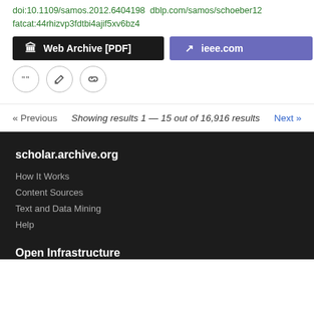doi:10.1109/samos.2012.6404198  dblp.com/samos/schoeber12
fatcat:44rhizvp3fdtbi4ajif5xv6bz4
[Figure (screenshot): Two buttons: 'Web Archive [PDF]' (dark/black background) and 'ieee.com' (purple background with external link icon)]
[Figure (screenshot): Three circular icon buttons: quote/cite, edit, and link icons]
« Previous   Showing results 1 — 15 out of 16,916 results   Next »
scholar.archive.org
How It Works
Content Sources
Text and Data Mining
Help
Open Infrastructure